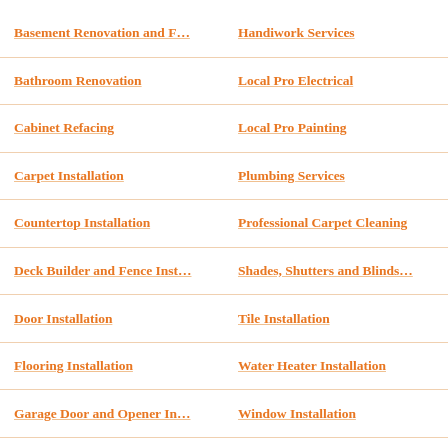Basement Renovation and F…
Handiwork Services
Bathroom Renovation
Local Pro Electrical
Cabinet Refacing
Local Pro Painting
Carpet Installation
Plumbing Services
Countertop Installation
Professional Carpet Cleaning
Deck Builder and Fence Inst…
Shades, Shutters and Blinds…
Door Installation
Tile Installation
Flooring Installation
Water Heater Installation
Garage Door and Opener In…
Window Installation